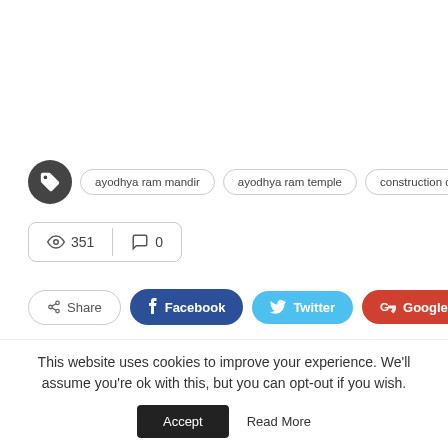ayodhya ram mandir
ayodhya ram temple
construction date
351  0
Share  Facebook  Twitter  Google+
Ashwin Rawal  -  65 Posts  -  0 Comments
This website uses cookies to improve your experience. We'll assume you're ok with this, but you can opt-out if you wish.
Accept  Read More